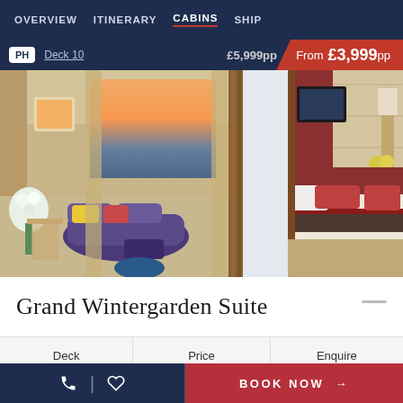OVERVIEW  ITINERARY  CABINS  SHIP
PH  Deck 10  £5,999pp
From £3,999pp
[Figure (photo): Luxury cruise ship cabin suite interior showing two views: left side shows a living area with purple curved sofa, yellow cushion, floral cushions, white flowers arrangement, and floor-to-ceiling windows with ocean sunset view; right side shows a bedroom with king bed with dark and cream bedding, red accent wall, TV mounted on wall, wooden furnishings.]
Grand Wintergarden Suite
| Deck | Price | Enquire |
| --- | --- | --- |
BOOK NOW →